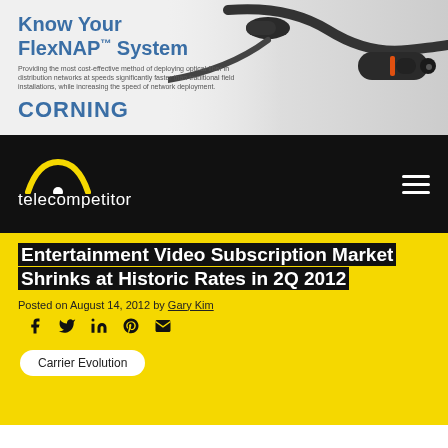[Figure (illustration): Corning FlexNAP System banner advertisement showing fiber optic cable connectors on gray background with blue text 'Know Your FlexNAP System' and Corning logo]
[Figure (logo): Telecompetitor website logo with yellow arc icon and white text on black navigation bar, with hamburger menu icon on right]
Entertainment Video Subscription Market Shrinks at Historic Rates in 2Q 2012
Posted on August 14, 2012 by Gary Kim
Carrier Evolution